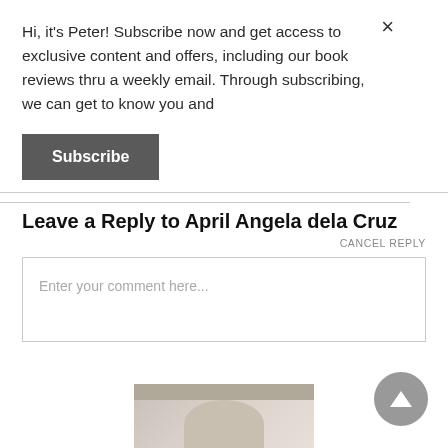Hi, it's Peter! Subscribe now and get access to exclusive content and offers, including our book reviews thru a weekly email. Through subscribing, we can get to know you and
Subscribe
Leave a Reply to April Angela dela Cruz
CANCEL REPLY
Enter your comment here...
[Figure (photo): Partial photo of a person's head visible at bottom of page]